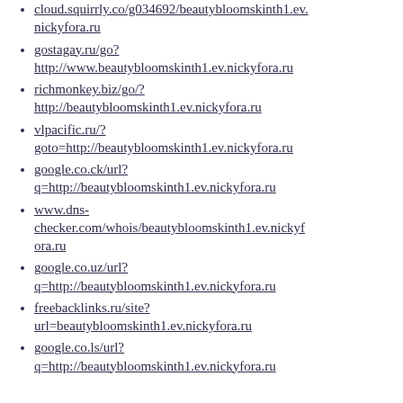cloud.squirrly.co/g034692/beautybloomskinth1.ev.nickyfora.ru
gostagay.ru/go? http://www.beautybloomskinth1.ev.nickyfora.ru
richmonkey.biz/go/? http://beautybloomskinth1.ev.nickyfora.ru
vlpacific.ru/? goto=http://beautybloomskinth1.ev.nickyfora.ru
google.co.ck/url? q=http://beautybloomskinth1.ev.nickyfora.ru
www.dns-checker.com/whois/beautybloomskinth1.ev.nickyfora.ru
google.co.uz/url? q=http://beautybloomskinth1.ev.nickyfora.ru
freebacklinks.ru/site? url=beautybloomskinth1.ev.nickyfora.ru
google.co.ls/url? q=http://beautybloomskinth1.ev.nickyfora.ru